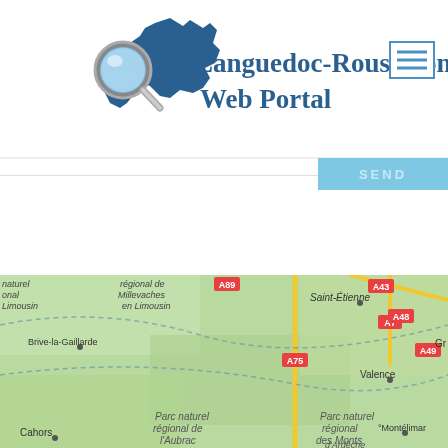[Figure (logo): Languedoc-Roussillon Web Portal logo with magnifying glass over blue region map shape and title text]
[Figure (map): Google Maps view showing Languedoc-Roussillon region of France with cities including Saint-Étienne, Brive-la-Gaillarde, Valence, Cahors, Montélimar and natural parks including Parc naturel régional de Millevaches en Limousin, Parc naturel régional de l'Aubrac, Parc naturel régional des Monts d'Ardèche. Roads A43, A48, A7, A49, A75 visible.]